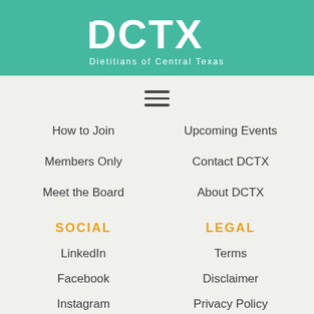[Figure (logo): DCTX - Dietitians of Central Texas logo, white text on teal background]
[Figure (other): Hamburger menu icon (three horizontal lines)]
How to Join
Upcoming Events
Members Only
Contact DCTX
Meet the Board
About DCTX
SOCIAL
LEGAL
LinkedIn
Terms
Facebook
Disclaimer
Instagram
Privacy Policy
ABOUT